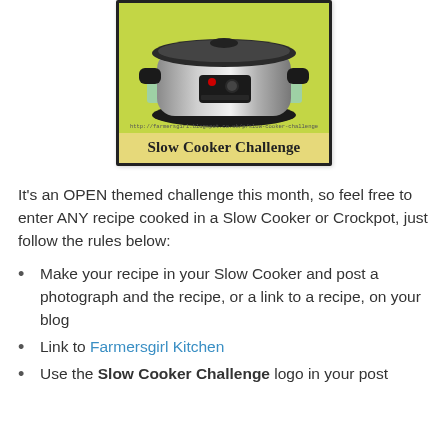[Figure (photo): Slow Cooker Challenge badge image showing a silver slow cooker/crockpot on a yellow-green background, with the text 'Slow Cooker Challenge' on a yellow banner below, and the URL http://farmersgirl.blogspot.co.uk/p/slow-cooker-challenge at the bottom of the photo section.]
It's an OPEN themed challenge this month, so feel free to enter ANY recipe cooked in a Slow Cooker or Crockpot, just follow the rules below:
Make your recipe in your Slow Cooker and post a photograph and the recipe, or a link to a recipe, on your blog
Link to Farmersgirl Kitchen
Use the Slow Cooker Challenge logo in your post